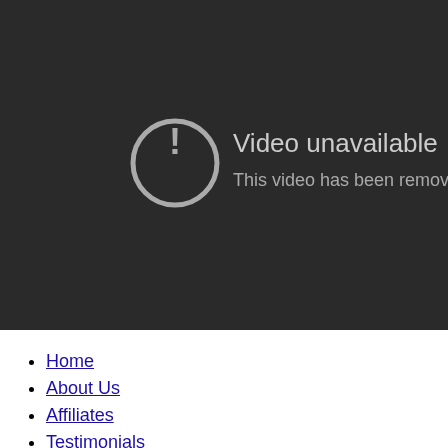[Figure (screenshot): Dark video player area showing 'Video unavailable' error message with exclamation mark icon in a circle. Text reads: 'Video unavailable' and 'This video has been removed by the u...']
Home
About Us
Affiliates
Testimonials
Contact